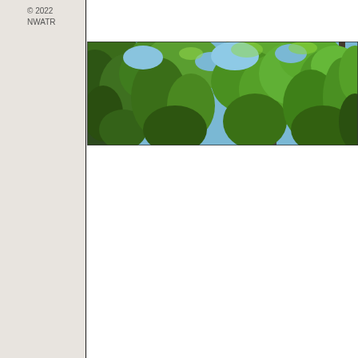© 2022
NWATR
[Figure (photo): Upward view through a forest canopy showing green tree leaves and branches against a blue sky, panoramic wide-angle shot]